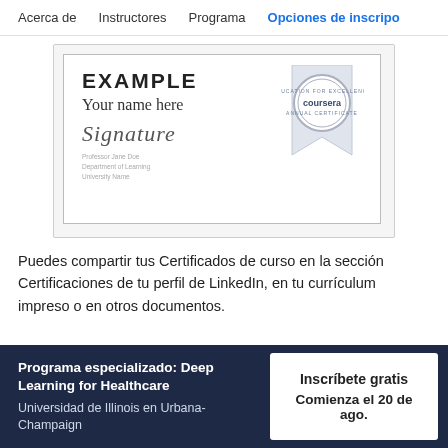Acerca de   Instructores   Programa   Opciones de inscripo
[Figure (illustration): Example Coursera course certificate preview showing 'EXAMPLE', 'Your name here', a signature, and a Coursera stamp seal on a ribbon.]
Puedes compartir tus Certificados de curso en la sección Certificaciones de tu perfil de LinkedIn, en tu currículum impreso o en otros documentos.
Programa especializado: Deep Learning for Healthcare
Universidad de Illinois en Urbana-Champaign
Inscríbete gratis
Comienza el 20 de ago.